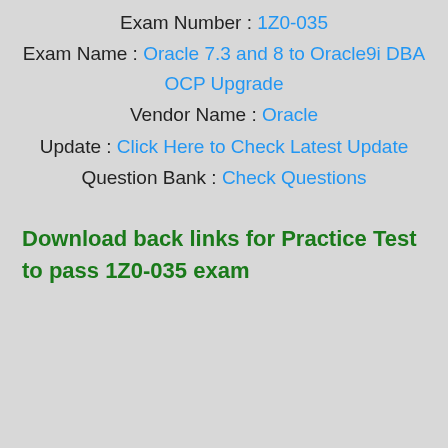Exam Number : 1Z0-035
Exam Name : Oracle 7.3 and 8 to Oracle9i DBA OCP Upgrade
Vendor Name : Oracle
Update : Click Here to Check Latest Update
Question Bank : Check Questions
Download back links for Practice Test to pass 1Z0-035 exam